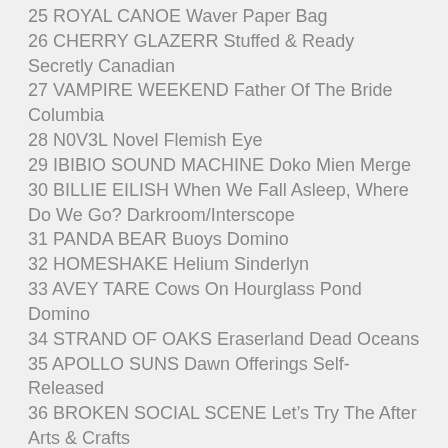25 ROYAL CANOE Waver Paper Bag
26 CHERRY GLAZERR Stuffed & Ready Secretly Canadian
27 VAMPIRE WEEKEND Father Of The Bride Columbia
28 N0V3L Novel Flemish Eye
29 IBIBIO SOUND MACHINE Doko Mien Merge
30 BILLIE EILISH When We Fall Asleep, Where Do We Go? Darkroom/Interscope
31 PANDA BEAR Buoys Domino
32 HOMESHAKE Helium Sinderlyn
33 AVEY TARE Cows On Hourglass Pond Domino
34 STRAND OF OAKS Eraserland Dead Oceans
35 APOLLO SUNS Dawn Offerings Self-Released
36 BROKEN SOCIAL SCENE Let's Try The After Arts & Crafts
37 DEER TICK Mayonnaise Partisan